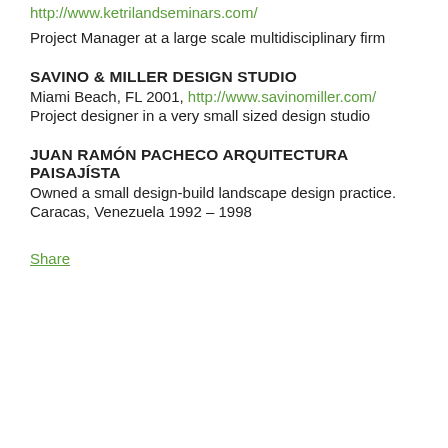http://www.ketrilandseminars.com/
Project Manager at a large scale multidisciplinary firm
SAVINO & MILLER DESIGN STUDIO
Miami Beach, FL 2001, http://www.savinomiller.com/
Project designer in a very small sized design studio
JUAN RAMÓN PACHECO ARQUITECTURA PAISAJÍSTA
Owned a small design-build landscape design practice.
Caracas, Venezuela 1992 – 1998
Share